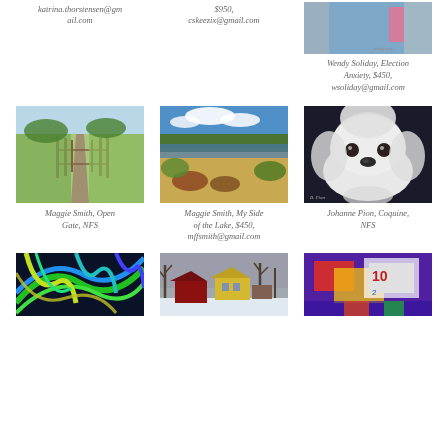katrina.thorstensen@gmail.com
$950, cskeezix@gmail.com
[Figure (photo): Partial view of a painting showing a figure in a blue shirt with pink detail]
Wendy Soliday, Election Anxiety, $450, wsoliday@gmail.com
[Figure (photo): Painting of a rural path with wooden fence posts and green fields]
Maggie Smith, Open Gate, NFS
[Figure (photo): Painting of a lakeside scene with sandy shore, wildflowers, trees and blue sky with clouds]
Maggie Smith, My Side of the Lake, $450, mffsmith@gmail.com
[Figure (photo): Painting of a small fluffy white dog (Maltese type) on dark background]
Johanne Pion, Coquine, NFS
[Figure (photo): Colorful abstract painting with blue, green, and yellow swirling lines on dark background]
[Figure (photo): Painting of a New England winter scene with red barn and yellow house amid bare trees]
[Figure (photo): Abstract painting with bright colors, text fragments, on purple background]